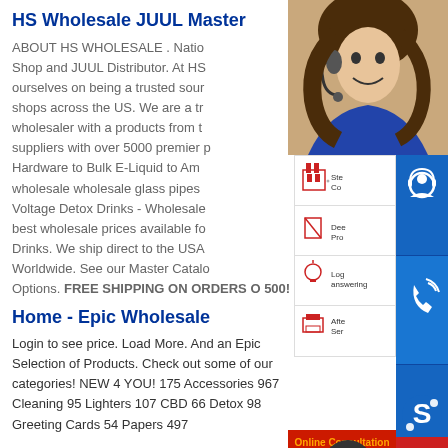HS Wholesale JUUL Master
ABOUT HS WHOLESALE . Natio… Shop and JUUL Distributor. At HS… ourselves on being a trusted sour… shops across the US. We are a tr… wholesaler with a products from t… suppliers with over 5000 premier p… Hardware to Bulk E-Liquid to Ame… wholesale wholesale glass pipes c… Voltage Detox Drinks - Wholesale… best wholesale prices available fo… Drinks. We ship direct to the USA… Worldwide. See our Master Catalo… Options. FREE SHIPPING ON ORDERS O…500!
[Figure (photo): Woman with headset smiling, customer service representative photo]
[Figure (infographic): Service panel with 4 icons: factory/steel icon with 'Ste... Co...', document/deep icon with 'Dee... Pro...', lightbulb/log icon with 'Log... answering...', printer/after icon with 'Afte... Ser...']
[Figure (infographic): Three blue icon buttons on right side: headset/person icon, phone icon, Skype icon. Red bar with 'Online Consultation' text in orange.]
Home - Epic Wholesale
Login to see price. Load More. And an Epic Selection of Products. Check out some of our categories! NEW 4 YOU! 175 Accessories 967 Cleaning 95 Lighters 107 CBD 66 Detox 98 Greeting Cards 54 Papers 497